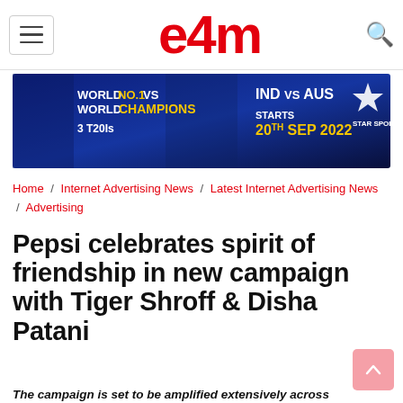e4m
[Figure (photo): Star Sports cricket ad banner: World No.1 vs World Champions, IND vs AUS, 3 T20Is, Starts 20th Sep 2022]
Home / Internet Advertising News / Latest Internet Advertising News / Advertising
Pepsi celebrates spirit of friendship in new campaign with Tiger Shroff & Disha Patani
The campaign is set to be amplified extensively across TV,